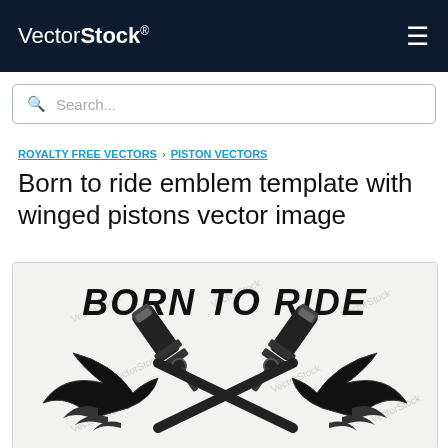VectorStock®
Search...
ROYALTY FREE VECTORS › PISTON VECTORS
Born to ride emblem template with winged pistons vector image
[Figure (illustration): Born to ride emblem with winged crossed pistons, black and white vector illustration with watermark text]